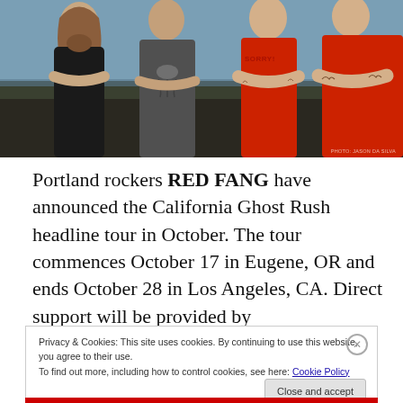[Figure (photo): Band photo of Red Fang — four musicians standing outdoors near water, one wearing a red shirt with 'SORRY!' text, others in dark shirts, with tattoos visible]
Portland rockers RED FANG have announced the California Ghost Rush headline tour in October. The tour commences October 17 in Eugene, OR and ends October 28 in Los Angeles, CA. Direct support will be provided by
Privacy & Cookies: This site uses cookies. By continuing to use this website, you agree to their use.
To find out more, including how to control cookies, see here: Cookie Policy
Close and accept